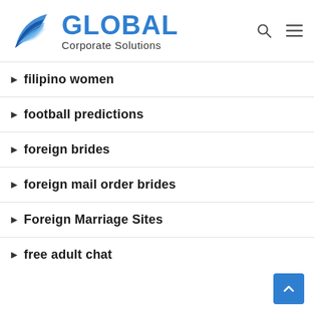[Figure (logo): Global Corporate Solutions logo with blue feather/leaf icon and blue GLOBAL text with Corporate Solutions subtitle]
filipino women
football predictions
foreign brides
foreign mail order brides
Foreign Marriage Sites
free adult chat